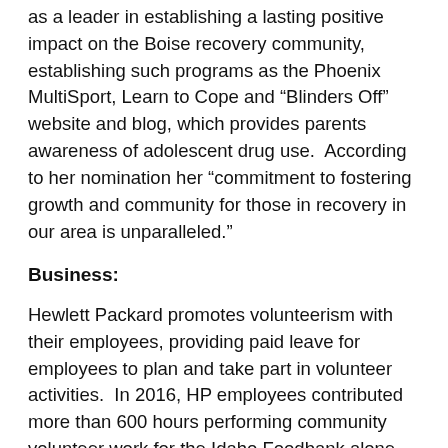as a leader in establishing a lasting positive impact on the Boise recovery community, establishing such programs as the Phoenix MultiSport, Learn to Cope and “Blinders Off” website and blog, which provides parents awareness of adolescent drug use.  According to her nomination her “commitment to fostering growth and community for those in recovery in our area is unparalleled.”
Business:
Hewlett Packard promotes volunteerism with their employees, providing paid leave for employees to plan and take part in volunteer activities.  In 2016, HP employees contributed more than 600 hours performing community volunteer work for the Idaho Foodbank alone. Projects included packing food for emergency food pantries, building senior food boxes for Idaho’s seniors who struggle with hunger, and building backpacks to feed children in need.  They also provide volunteers to the Idaho Foodbank to provide